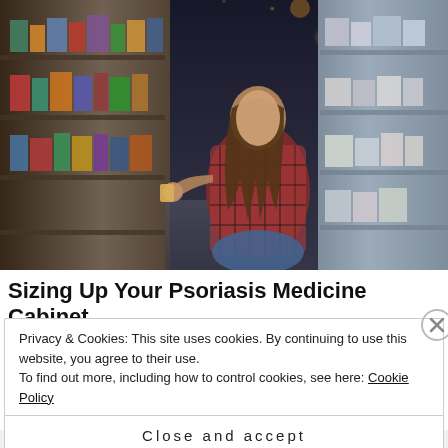[Figure (photo): A woman in a plaid shirt crouching down in a pharmacy/store aisle, examining a product on a low shelf. Store shelves with products visible on both sides. Bokeh lights in the background.]
Sizing Up Your Psoriasis Medicine Cabinet
Privacy & Cookies: This site uses cookies. By continuing to use this website, you agree to their use.
To find out more, including how to control cookies, see here: Cookie Policy
Close and accept